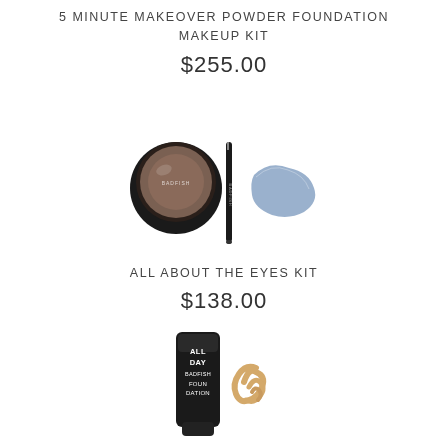5 MINUTE MAKEOVER POWDER FOUNDATION MAKEUP KIT
$255.00
[Figure (photo): Makeup kit product photo showing a round powder compact with brown eyeshadow labeled BADFISH, a thin black eyeliner pencil, and a blue/lavender color swatch smear arranged horizontally on white background]
ALL ABOUT THE EYES KIT
$138.00
[Figure (photo): Product photo showing a black tube labeled ALL DAY BADFISH FOUNDATION with a swirl of beige/tan foundation cream beside it, partially cropped at bottom of page]